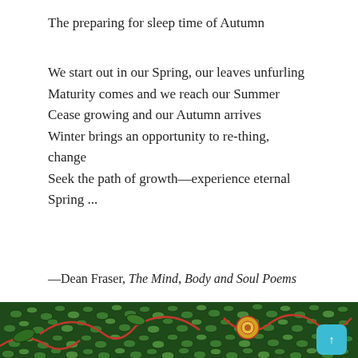The preparing for sleep time of Autumn
We start out in our Spring, our leaves unfurling
Maturity comes and we reach our Summer
Cease growing and our Autumn arrives
Winter brings an opportunity to re-thing, change
Seek the path of growth—experience eternal Spring ...
—Dean Fraser, The Mind, Body and Soul Poems
[Figure (photo): Decorative botanical illustration with green, red and gold swirling leaf and seed patterns on a dark background, with a teal scroll-to-top button in the lower right.]